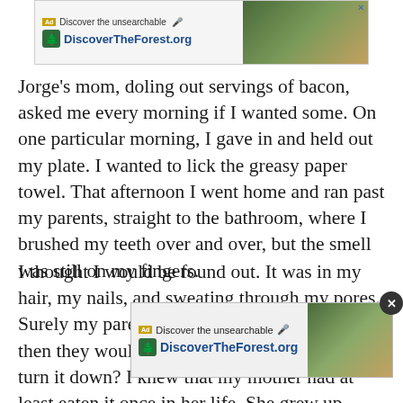[Figure (screenshot): Advertisement banner at top showing 'Discover the unsearchable' with DiscoverTheForest.org and forest/hiking imagery]
Jorge's mom, doling out servings of bacon, asked me every morning if I wanted some. On one particular morning, I gave in and held out my plate. I wanted to lick the greasy paper towel. That afternoon I went home and ran past my parents, straight to the bathroom, where I brushed my teeth over and over, but the smell was still on my fingers.
I thought I would be found out. It was in my hair, my nails, and sweating through my pores. Surely my parents could smell it on me. And then they would want some. How could they turn it down? I knew that my mother had at least eaten it once in her life. She grew up Catholic, and her family was always eating pork when we were around. She said the smell m[...] eaten some a[...] acon? I wanted to ask them but it was as if we were in some secret
[Figure (screenshot): Advertisement overlay showing 'Discover the unsearchable' with DiscoverTheForest.org and forest/hiking imagery with close button]